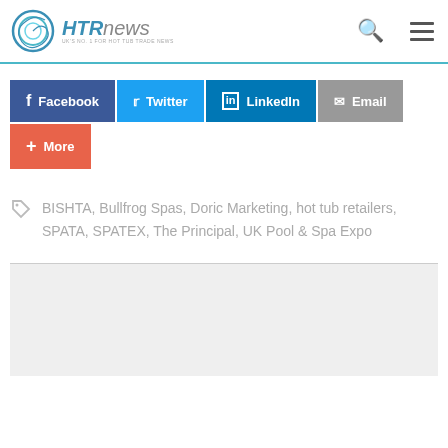HTRnews - UK's NO. 1 FOR HOT TUB TRADE NEWS
[Figure (logo): HTRnews logo with spiral icon and tagline UK's NO. 1 FOR HOT TUB TRADE NEWS]
Facebook  Twitter  LinkedIn  Email  More
BISHTA, Bullfrog Spas, Doric Marketing, hot tub retailers, SPATA, SPATEX, The Principal, UK Pool & Spa Expo